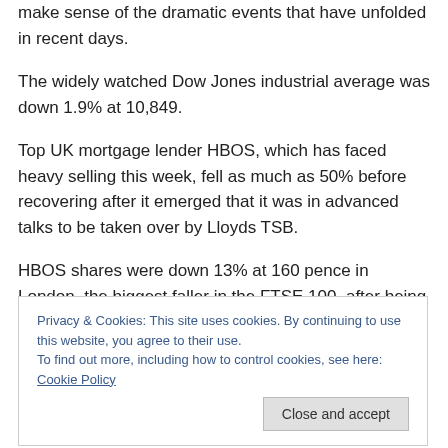make sense of the dramatic events that have unfolded in recent days.
The widely watched Dow Jones industrial average was down 1.9% at 10,849.
Top UK mortgage lender HBOS, which has faced heavy selling this week, fell as much as 50% before recovering after it emerged that it was in advanced talks to be taken over by Lloyds TSB.
HBOS shares were down 13% at 160 pence in London, the biggest faller in the FTSE 100, after being the top
Privacy & Cookies: This site uses cookies. By continuing to use this website, you agree to their use.
To find out more, including how to control cookies, see here: Cookie Policy
Key events on Wednesday included: